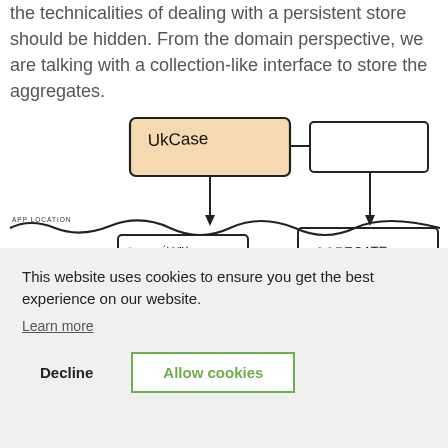the technicalities of dealing with a persistent store should be hidden. From the domain perspective, we are talking with a collection-like interface to store the aggregates.
[Figure (schematic): Hand-drawn diagram showing a UseCase box at the top connected by arrows through a wavy boundary line (labeled APP LOCATION) down to a Repository box on the left and an AGGREGATE box on the right.]
This website uses cookies to ensure you get the best experience on our website.
Learn more
Decline   Allow cookies
Placing this abstraction inside the domain layer,